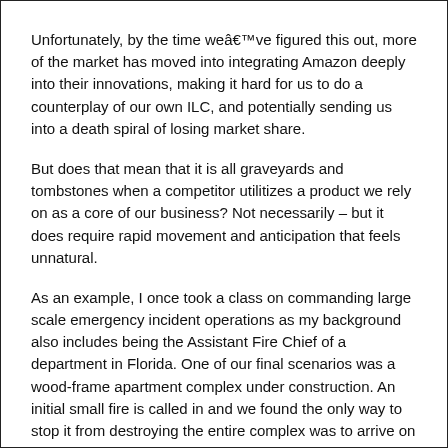Unfortunately, by the time weâve figured this out, more of the market has moved into integrating Amazon deeply into their innovations, making it hard for us to do a counterplay of our own ILC, and potentially sending us into a death spiral of losing market share.
But does that mean that it is all graveyards and tombstones when a competitor utilitizes a product we rely on as a core of our business? Not necessarily – but it does require rapid movement and anticipation that feels unnatural.
As an example, I once took a class on commanding large scale emergency incident operations as my background also includes being the Assistant Fire Chief of a department in Florida. One of our final scenarios was a wood-frame apartment complex under construction. An initial small fire is called in and we found the only way to stop it from destroying the entire complex was to arrive on scene and immediately call for six alarms. For context, each alarm for us is 3 fire engines, a ladder truck, an ambulance and a